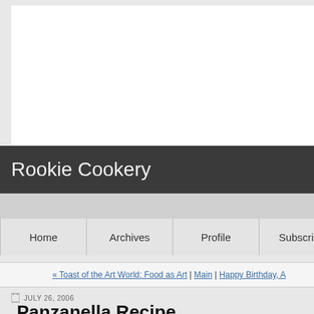[Figure (other): White advertisement/banner placeholder box]
Rookie Cookery
Home | Archives | Profile | Subscribe
« Toast of the Art World: Food as Art | Main | Happy Birthday, A
JULY 26, 2006
Panzanella Recipe